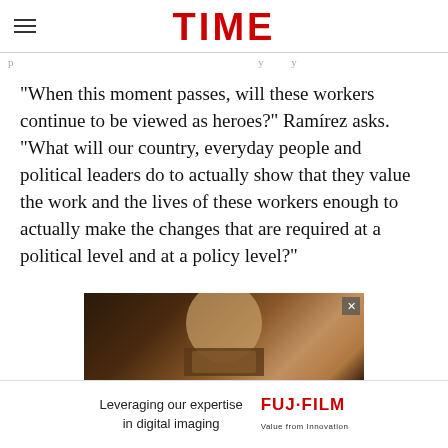TIME
p…
“When this moment passes, will these workers continue to be viewed as heroes?” Ramírez asks. “What will our country, everyday people and political leaders do to actually show that they value the work and the lives of these workers enough to actually make the changes that are required at a political level and at a policy level?”
[Figure (photo): Advertisement image showing a person holding a framed picture, dark moody lighting with warm tones]
[Figure (photo): Fujifilm advertisement banner: 'Leveraging our expertise in digital imaging' with Fujifilm logo and tagline 'Value from Innovation']